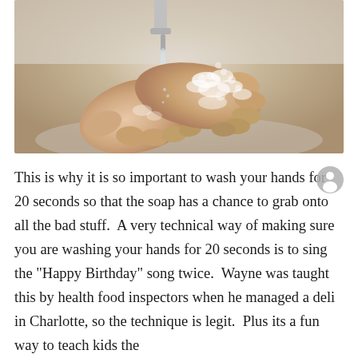[Figure (photo): Photograph of a person's hands being washed under running water from a faucet, with soap suds/foam visible on the hands, over a sink.]
This is why it is so important to wash your hands for 20 seconds so that the soap has a chance to grab onto all the bad stuff.  A very technical way of making sure you are washing your hands for 20 seconds is to sing the "Happy Birthday" song twice.  Wayne was taught this by health food inspectors when he managed a deli in Charlotte, so the technique is legit.  Plus its a fun way to teach kids the